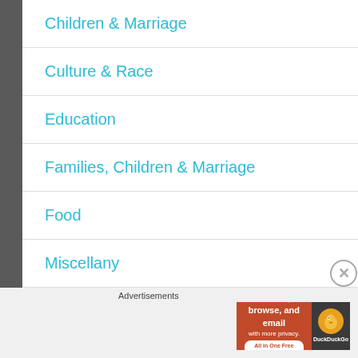Children & Marriage
Culture & Race
Education
Families, Children & Marriage
Food
Miscellany
Restoration & Reconciliation
Advertisements
[Figure (screenshot): DuckDuckGo advertisement banner: orange background with text 'Search, browse, and email with more privacy. All in One Free App' and DuckDuckGo logo on dark background]